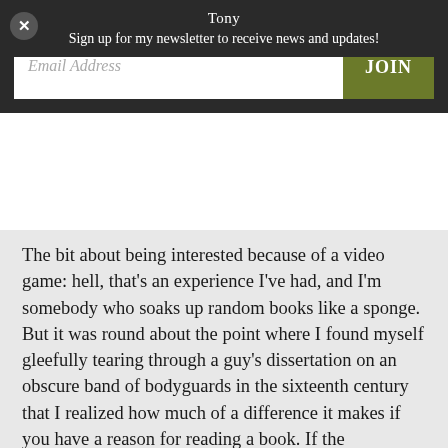Tony
Sign up for my newsletter to receive news and updates!
The bit about being interested because of a video game: hell, that's an experience I've had, and I'm somebody who soaks up random books like a sponge. But it was round about the point where I found myself gleefully tearing through a guy's dissertation on an obscure band of bodyguards in the sixteenth century that I realized how much of a difference it makes if you have a reason for reading a book. If the information links in with something you know or care about or want to know more about. I would not have given a flying damn about the Gentlemen Pensioners, let alone strong-armed a professor I'd never met into mailing me a copy of his dissertation, if I hadn't had a use for the information.